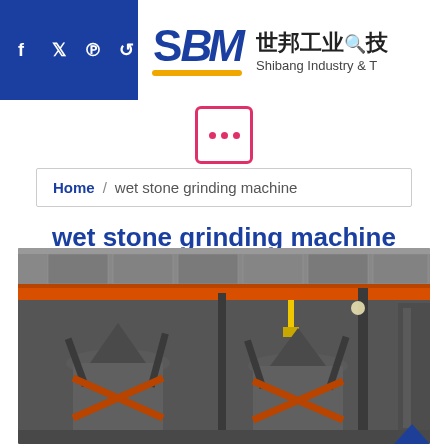SBM 世邦工业技术 Shibang Industry & Technology
[Figure (logo): SBM Shibang Industry and Technology logo with Chinese text 世邦工业技术]
[Figure (other): Browser/window icon with three dots, pink border]
Home / wet stone grinding machine
wet stone grinding machine
[Figure (photo): Industrial grinding machine facility interior showing large cylindrical grinding machines with orange overhead crane beams, metal framework and industrial piping inside a warehouse]